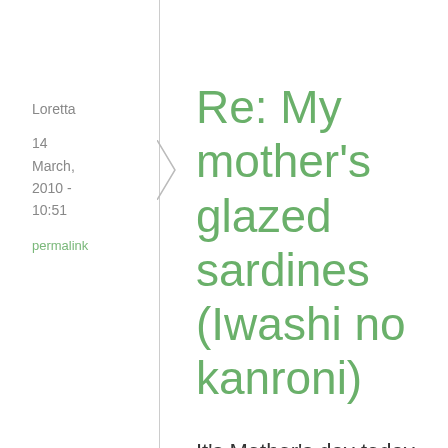Loretta
14 March, 2010 - 10:51
permalink
Re: My mother's glazed sardines (Iwashi no kanroni)
It's Mother's day today in the UK, and my very first as a mother. I couldn't ask for a better